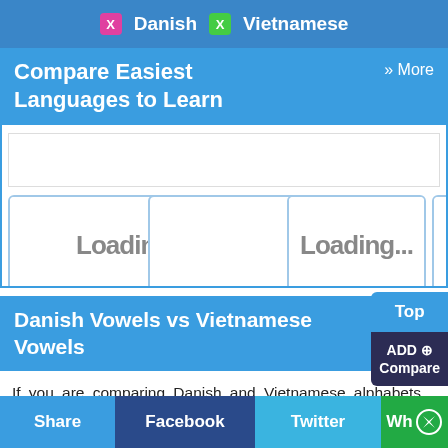Danish  Vietnamese
Compare Easiest Languages to Learn  » More
[Figure (screenshot): Three loading card placeholders with Loading... text, first card labeled 'Danish vs Hausa', second card partially visible labeled 'Da...']
Danish Vowels vs Vietnamese Vowels
If you are comparing Danish and Vietnamese alphabets then you need to find out Danish vowels vs Vietnamese vowels too. The number of vowels and consonants in Danish are 20 and 20 and number of vowels and
Share  Facebook  Twitter  Wh...